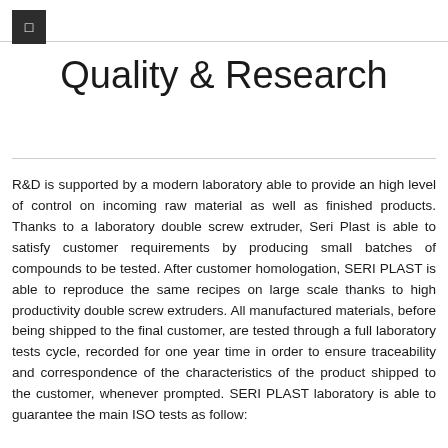Quality & Research
R&D is supported by a modern laboratory able to provide an high level of control on incoming raw material as well as finished products. Thanks to a laboratory double screw extruder, Seri Plast is able to satisfy customer requirements by producing small batches of compounds to be tested. After customer homologation, SERI PLAST is able to reproduce the same recipes on large scale thanks to high productivity double screw extruders. All manufactured materials, before being shipped to the final customer, are tested through a full laboratory tests cycle, recorded for one year time in order to ensure traceability and correspondence of the characteristics of the product shipped to the customer, whenever prompted. SERI PLAST laboratory is able to guarantee the main ISO tests as follow: